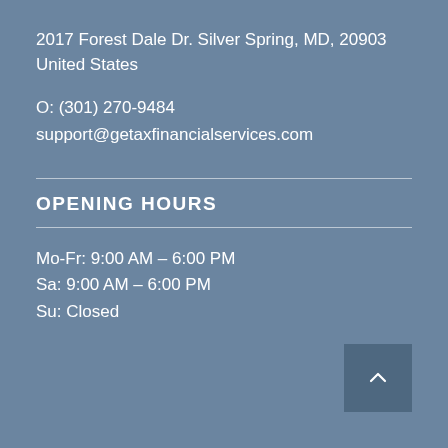2017 Forest Dale Dr. Silver Spring, MD, 20903
United States
O: (301) 270-9484
support@getaxfinancialservices.com
OPENING HOURS
Mo-Fr: 9:00 AM – 6:00 PM
Sa: 9:00 AM – 6:00 PM
Su: Closed